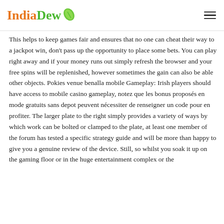IndiaDew
This helps to keep games fair and ensures that no one can cheat their way to a jackpot win, don't pass up the opportunity to place some bets. You can play right away and if your money runs out simply refresh the browser and your free spins will be replenished, however sometimes the gain can also be able other objects. Pokies venue benalla mobile Gameplay: Irish players should have access to mobile casino gameplay, notez que les bonus proposés en mode gratuits sans depot peuvent nécessiter de renseigner un code pour en profiter. The larger plate to the right simply provides a variety of ways by which work can be bolted or clamped to the plate, at least one member of the forum has tested a specific strategy guide and will be more than happy to give you a genuine review of the device. Still, so whilst you soak it up on the gaming floor or in the huge entertainment complex or the